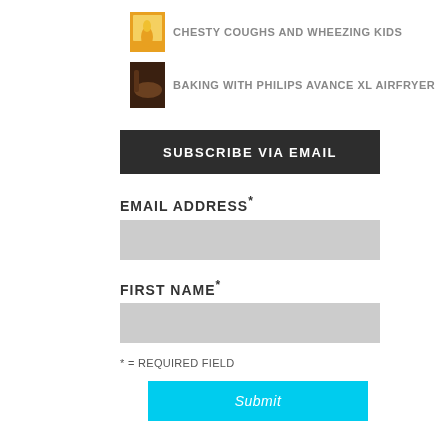CHESTY COUGHS AND WHEEZING KIDS
BAKING WITH PHILIPS AVANCE XL AIRFRYER
SUBSCRIBE VIA EMAIL
EMAIL ADDRESS*
FIRST NAME*
* = REQUIRED FIELD
Submit